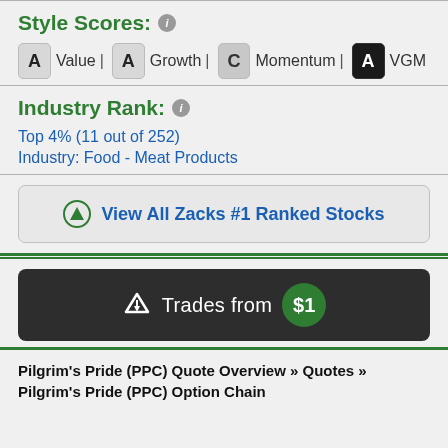Style Scores:
A Value | A Growth | C Momentum | A VGM
Industry Rank:
Top 4% (11 out of 252)
Industry: Food - Meat Products
View All Zacks #1 Ranked Stocks
Trades from $1
Pilgrim's Pride (PPC) Quote Overview » Quotes » Pilgrim's Pride (PPC) Option Chain